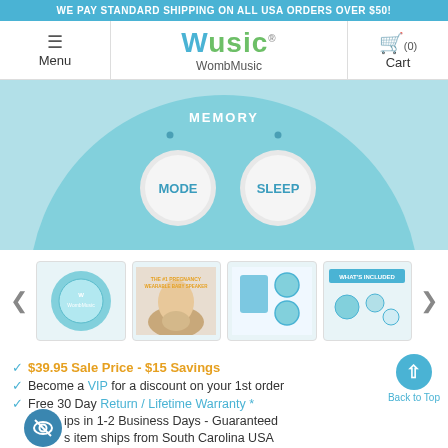WE PAY STANDARD SHIPPING ON ALL USA ORDERS OVER $50!
Menu | WombMusic | Cart (0)
[Figure (photo): Close-up of a teal/mint colored circular device (WombMusic) showing MODE and SLEEP buttons with MEMORY label at top]
[Figure (photo): Four product thumbnail images: device top view, woman using product, product accessories kit, and what's included diagram]
$39.95 Sale Price - $15 Savings
Become a VIP for a discount on your 1st order
Free 30 Day Return / Lifetime Warranty *
Ships in 1-2 Business Days - Guaranteed
This item ships from South Carolina USA